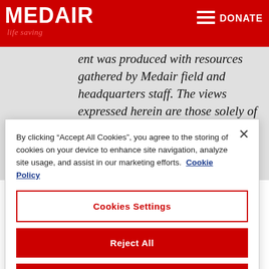MEDAIR | life saving | DONATE
ent was produced with resources gathered by Medair field and headquarters staff. The views expressed herein are those solely of Medair and should not be taken, in any way, to reflect the official opinion of any other organisation.
By clicking “Accept All Cookies”, you agree to the storing of cookies on your device to enhance site navigation, analyze site usage, and assist in our marketing efforts. Cookie Policy
Cookies Settings
Reject All
Accept All Cookies